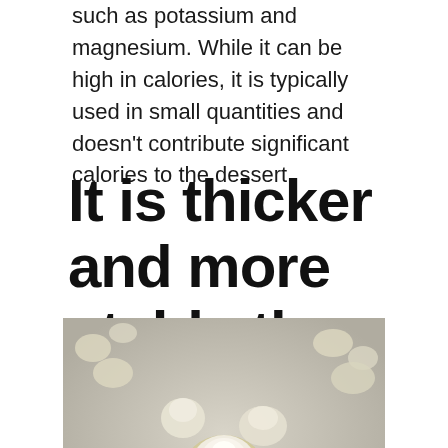such as potassium and magnesium. While it can be high in calories, it is typically used in small quantities and doesn't contribute significant calories to the dessert.
It is thicker and more stable than heavy cream
[Figure (photo): Photo of decorative cream rosette swirls piped on a surface, showing multiple white/pale yellow rosette-shaped dollops of whipped cream or buttercream arranged on a grey/marble background.]